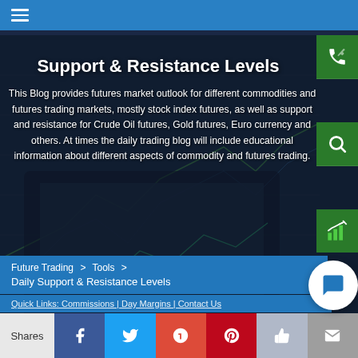Support & Resistance Levels — navigation header with hamburger menu
Support & Resistance Levels
This Blog provides futures market outlook for different commodities and futures trading markets, mostly stock index futures, as well as support and resistance for Crude Oil futures, Gold futures, Euro currency and others. At times the daily trading blog will include educational information about different aspects of commodity and futures trading.
Future Trading  >  Tools  >
Daily Support & Resistance Levels
Quick Links: Commissions | Day Margins | Contact Us
Shares  [Facebook] [Twitter] [Google+] [Pinterest] [Like] [Email]